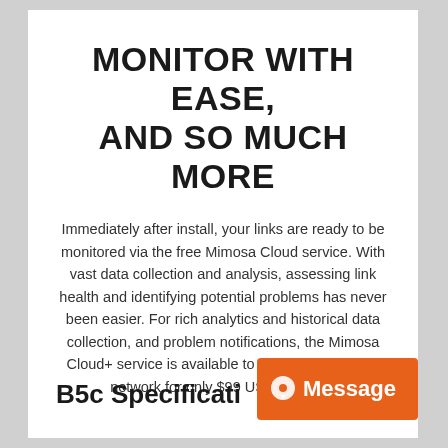MONITOR WITH EASE, AND SO MUCH MORE
Immediately after install, your links are ready to be monitored via the free Mimosa Cloud service. With vast data collection and analysis, assessing link health and identifying potential problems has never been easier. For rich analytics and historical data collection, and problem notifications, the Mimosa Cloud+ service is available to monitor your entire network for only $99 USD per year.
B5c Specificati…